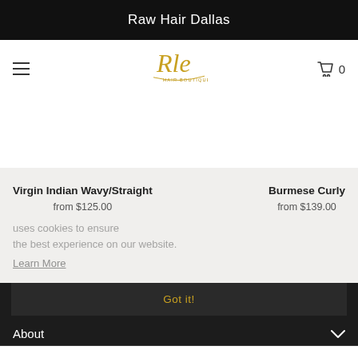Raw Hair Dallas
[Figure (logo): Rle Hair Boutique script logo in gold/yellow cursive]
Virgin Indian Wavy/Straight
from $125.00
Burmese Curly
from $139.00
uses cookies to ensure the best experience on our website.
Learn More
Got it!
About